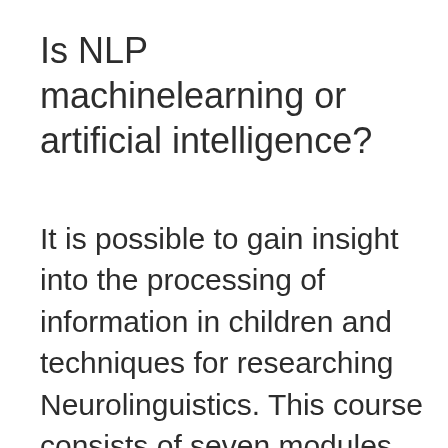Is NLP machinelearning or artificial intelligence?
It is possible to gain insight into the processing of information in children and techniques for researching Neurolinguistics. This course consists of seven modules, each with different clinical conditions. This Neuro-linguistic Programming Certification program is offered by